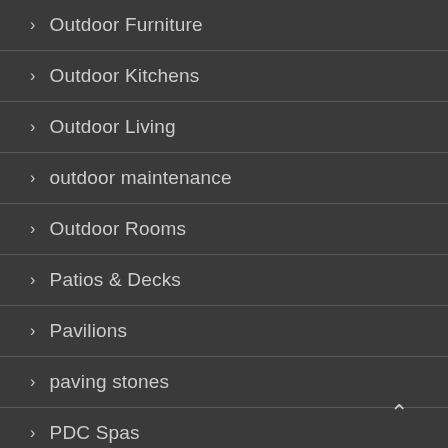> Outdoor Furniture
> Outdoor Kitchens
> Outdoor Living
> outdoor maintenance
> Outdoor Rooms
> Patios & Decks
> Pavilions
> paving stones
> PDC Spas
> Pergola
> Plantings/Pondscapes